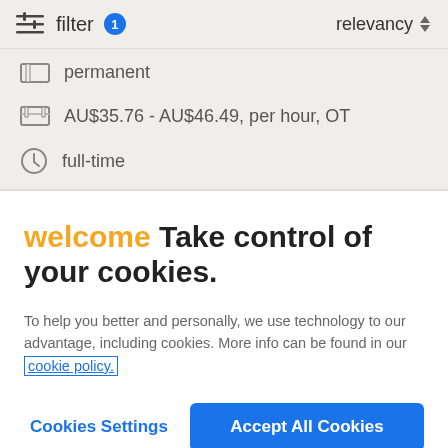filter 1   relevancy
permanent
AU$35.76 - AU$46.49, per hour, OT
full-time
welcome Take control of your cookies.
To help you better and personally, we use technology to our advantage, including cookies. More info can be found in our cookie policy.
Cookies Settings   Accept All Cookies